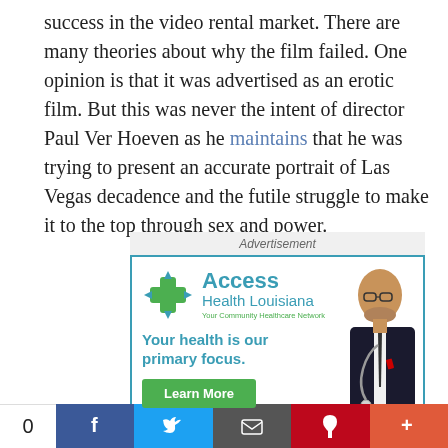success in the video rental market. There are many theories about why the film failed. One opinion is that it was advertised as an erotic film. But this was never the intent of director Paul Ver Hoeven as he maintains that he was trying to present an accurate portrait of Las Vegas decadence and the futile struggle to make it to the top through sex and power.
[Figure (other): Advertisement for Access Health Louisiana - Your Community Healthcare Network. Features logo with green cross and blue arrows, tagline 'Your health is our primary focus.', a Learn More green button, and a photo of a doctor in a suit with stethoscope.]
0  [Facebook] [Twitter] [Email] [Pinterest] [+]